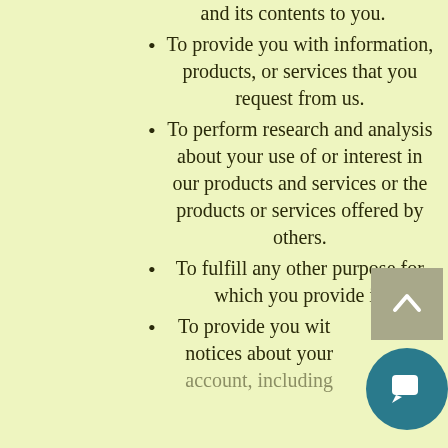and its contents to you.
To provide you with information, products, or services that you request from us.
To perform research and analysis about your use of or interest in our products and services or the products or services offered by others.
To fulfill any other purpose for which you provide it.
To provide you with notices about your account, including...